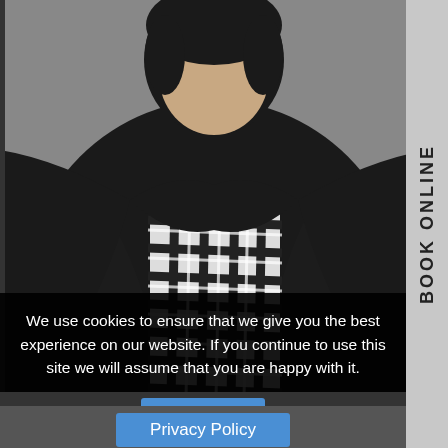[Figure (photo): Person wearing a black jacket and black-and-white plaid/grid-pattern scarf or shirt, photographed from chest up. Background is neutral/gray. A gray sidebar on the right reads 'BOOK ONLINE' vertically.]
We use cookies to ensure that we give you the best experience on our website. If you continue to use this site we will assume that you are happy with it.
OK
Privacy Policy